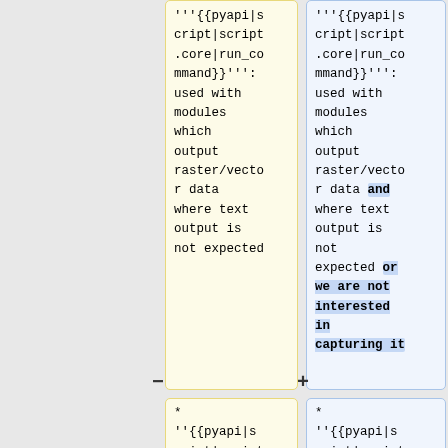| (removed) | (added) |
| --- | --- |
| ''{{pyapi|script|script.core|run_command}}''': used with modules which output raster/vector data where text output is not expected | ''{{pyapi|script|script.core|run_command}}''': used with modules which output raster/vector data and where text output is not expected or we are not interested in capturing it |
| * ''{{pyapi|script|script | * ''{{pyapi|script|script |